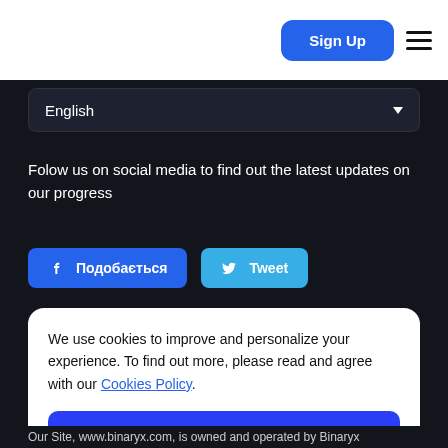Sign Up
English
Folow us on social media to find out the latest updates on our progress
👍 Подобається   Tweet
We use cookies to improve and personalize your experience. To find out more, please read and agree with our Cookies Policy.
Allow Cookies
Our Site, www.binaryx.com, is owned and operated by Binaryx